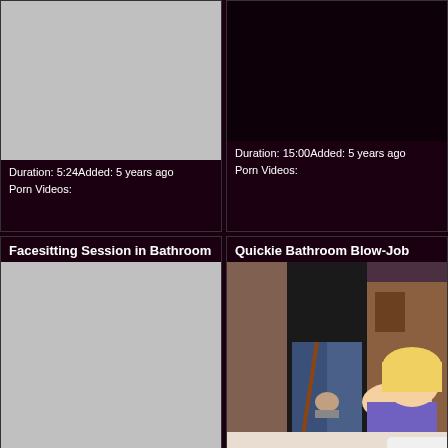[Figure (photo): Gray placeholder thumbnail]
Duration: 5:24Added: 5 years ago
Porn Videos:
[Figure (photo): Dark background area with metadata]
Duration: 15:00Added: 5 years ago
Porn Videos:
Facesitting Session in Bathroom
[Figure (photo): Gray placeholder thumbnail]
Duration: 14:40Added: 5 years ago
Porn Videos: femdom face
Quickie Bathroom Blow-Job
[Figure (photo): Photo of a woman kneeling in bathroom with a man standing]
Duration: 5:00Added: 5 years ago
Porn Videos:
Russian mother in bathroom
Bathroom fuck